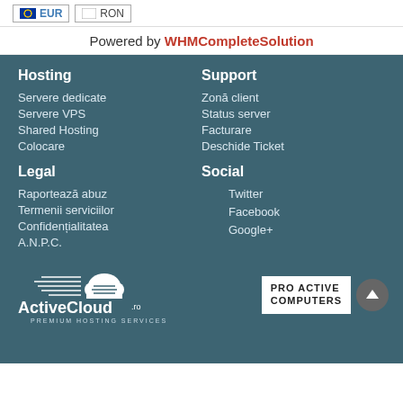EUR  RON
Powered by WHMCompleteSolution
Hosting
Servere dedicate
Servere VPS
Shared Hosting
Colocare
Support
Zonă client
Status server
Facturare
Deschide Ticket
Legal
Raportează abuz
Termenii serviciilor
Confidențialitatea
A.N.P.C.
Social
Twitter
Facebook
Google+
[Figure (logo): ActiveCloud.ro Premium Hosting Services logo]
[Figure (logo): Pro Active Computers logo]